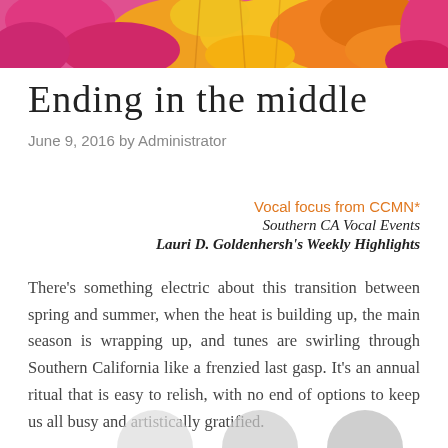[Figure (photo): Banner image of colorful flowers — pink and orange/yellow blooms filling the full width at the top of the page]
Ending in the middle
June 9, 2016 by Administrator
Vocal focus from CCMN*
Southern CA Vocal Events
Lauri D. Goldenhersh's Weekly Highlights
There's something electric about this transition between spring and summer, when the heat is building up, the main season is wrapping up, and tunes are swirling through Southern California like a frenzied last gasp. It's an annual ritual that is easy to relish, with no end of options to keep us all busy and artistically gratified.
[Figure (illustration): Partial view of circular avatar/profile images at the bottom of the page, cut off at the page edge]